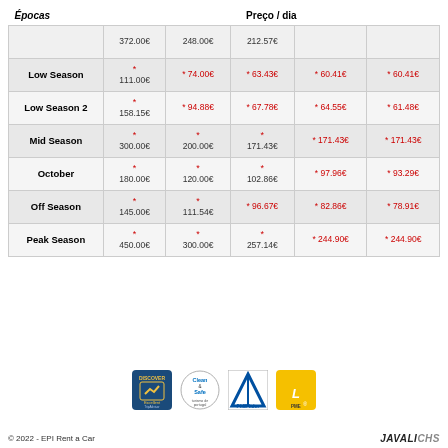| Épocas |  |  | Preço / dia |  |  |
| --- | --- | --- | --- | --- | --- |
|  | 372.00€ | 248.00€ | 212.57€ |  |  |
| Low Season | * 111.00€ | * 74.00€ | * 63.43€ | * 60.41€ | * 60.41€ |
| Low Season 2 | * 158.15€ | * 94.88€ | * 67.78€ | * 64.55€ | * 61.48€ |
| Mid Season | * 300.00€ | * 200.00€ | * 171.43€ | * 171.43€ | * 171.43€ |
| October | * 180.00€ | * 120.00€ | * 102.86€ | * 97.96€ | * 93.29€ |
| Off Season | * 145.00€ | * 111.54€ | * 96.67€ | * 82.86€ | * 78.91€ |
| Peak Season | * 450.00€ | * 300.00€ | * 257.14€ | * 244.90€ | * 244.90€ |
[Figure (logo): Discover Excellent logo badge]
[Figure (logo): Clean & Safe logo badge]
[Figure (logo): PME Lider logo badge]
[Figure (logo): PME logo badge yellow]
© 2022 - EPI Rent a Car
JAVALI CHS